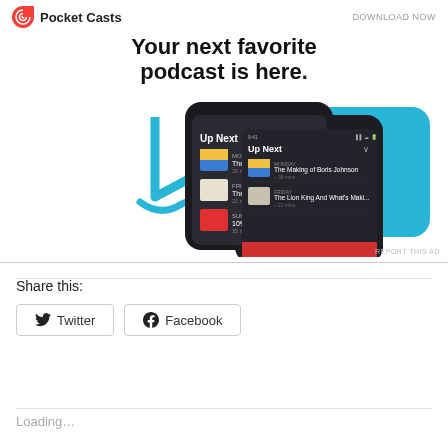[Figure (screenshot): Pocket Casts advertisement banner showing app logo, 'DOWNLOAD NOW' text, headline 'Your next favorite podcast is here.' and two smartphone screenshots of the Pocket Casts app showing 'Up Next' queue with podcast episodes including 'The Making of Boris Johnson' and 'The Lion King And What's Maki...']
Share this:
Twitter
Facebook
Loading...